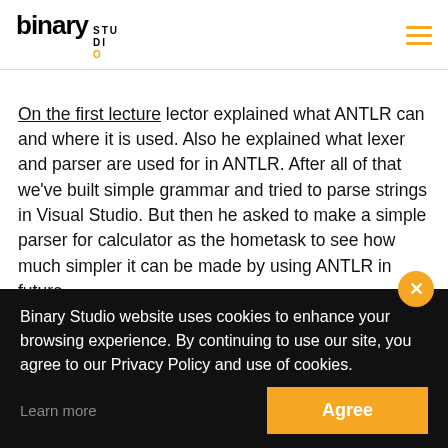binary STUDIO
On the first lecture lector explained what ANTLR can and where it is used. Also he explained what lexer and parser are used for in ANTLR. After all of that we've built simple grammar and tried to parse strings in Visual Studio. But then he asked to make a simple parser for calculator as the hometask to see how much simpler it can be made by using ANTLR in future.
Binary Studio website uses cookies to enhance your browsing experience. By continuing to use our site, you agree to our Privacy Policy and use of cookies.
Learn more
Agree